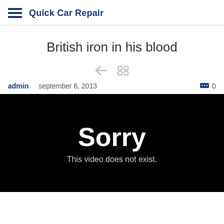Quick Car Repair
British iron in his blood
admin   september 6, 2013   0
[Figure (screenshot): Black video player placeholder showing 'Sorry - This video does not exist.']